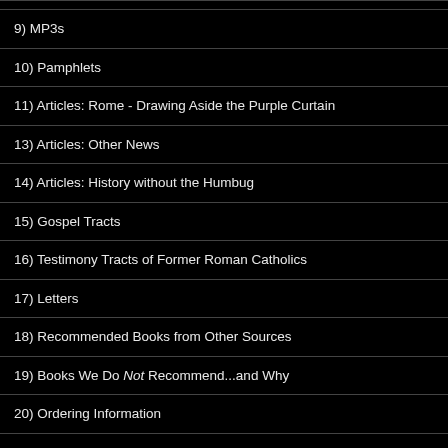9) MP3s
10) Pamphlets
11) Articles: Rome - Drawing Aside the Purple Curtain
13) Articles: Other News
14) Articles: History without the Humbug
15) Gospel Tracts
16) Testimony Tracts of Former Roman Catholics
17) Letters
18) Recommended Books from Other Sources
19) Books We Do Not Recommend...and Why
20) Ordering Information
21) How You Can Help Us